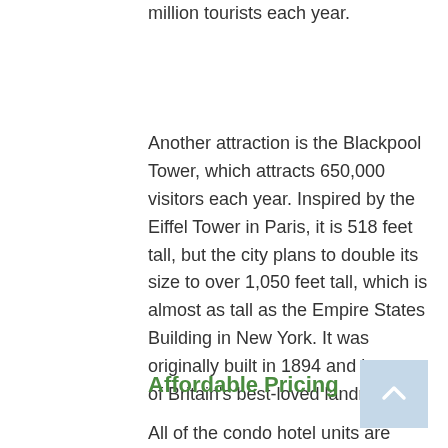million tourists each year.
Another attraction is the Blackpool Tower, which attracts 650,000 visitors each year. Inspired by the Eiffel Tower in Paris, it is 518 feet tall, but the city plans to double its size to over 1,050 feet tall, which is almost as tall as the Empire States Building in New York. It was originally built in 1894 and is one of Britain's best-loved landmarks.
Affordable Pricing
All of the condo hotel units are single